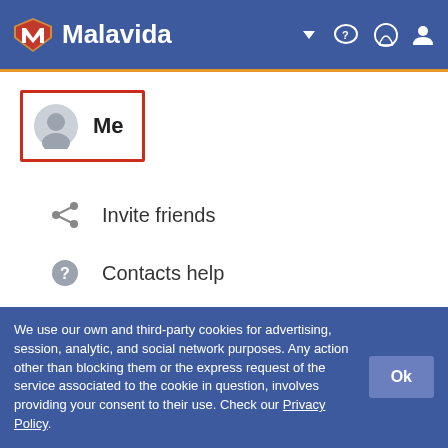Malavida
[Figure (screenshot): Malavida app menu showing 'Me' profile item highlighted with red border, 'Invite friends' option with share icon, and 'Contacts help' option with question mark icon]
We use our own and third-party cookies for advertising, session, analytic, and social network purposes. Any action other than blocking them or the express request of the service associated to the cookie in question, involves providing your consent to their use. Check our Privacy Policy.